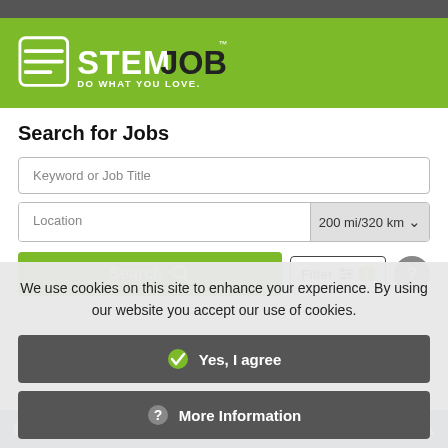[Figure (logo): STEM JOBS logo with tagline 'DO WHAT YOU LOVE.' on a green background]
Search for Jobs
Keyword or Job Title
Location | 200 mi/320 km
Search | Filter 1 | ?
We use cookies on this site to enhance your experience. By using our website you accept our use of cookies.
✔ Yes, I agree
? More Information
Receive Alerts for this Search